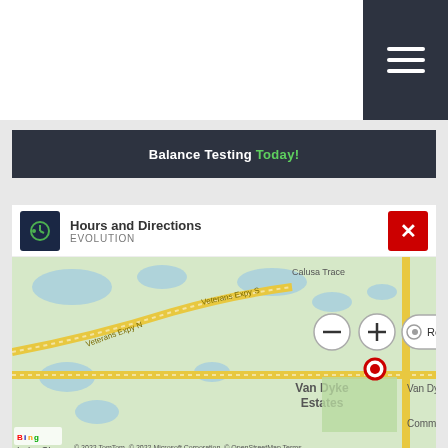Balance Testing Today!
Hours and Directions
EVOLUTION
[Figure (map): Interactive map showing location near Van Dyke Estates, Tampa FL area. Shows Veterans Expy N, Van Dyke Rd, Calusa Trace. Red pin marker visible. Map controls: minus, plus, Road view. Scale: 2500 feet / 500 ft. Copyright 2022 TomTom, 2022 Microsoft Corporation, OpenStreetMap. Bing logo visible.]
Address
4691 Van Dyke Road
Lutz, FL 33558